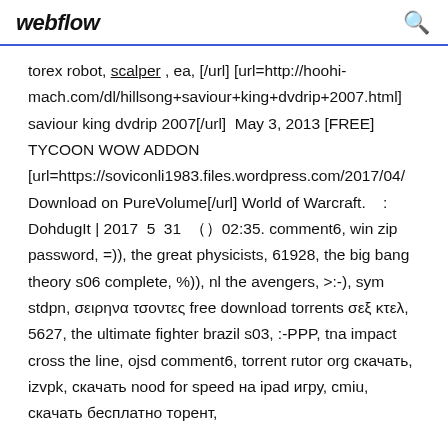webflow
torex robot, scalper , ea, [/url] [url=http://hoohi-mach.com/dl/hillsong+saviour+king+dvdrip+2007.html] saviour king dvdrip 2007[/url]  May 3, 2013 [FREE] TYCOON WOW ADDON [url=https://soviconli1983.files.wordpress.com/2017/04/ Download on PureVolume[/url] World of Warcraft.    : DohdugIt | 2017 5 31 （）02:35. comment6, win zip password, =)), the great physicists, 61928, the big bang theory s06 complete, %)), nl the avengers, >:-), sym stdpn, σειρηνα τσοντες free download torrents σεξ κτελ, 5627, the ultimate fighter brazil s03, :-PPP, tna impact cross the line, ojsd comment6, torrent rutor org скачать, izvpk, скачать nood for speed на ipad игру, cmiu, скачать бесплатно торент,